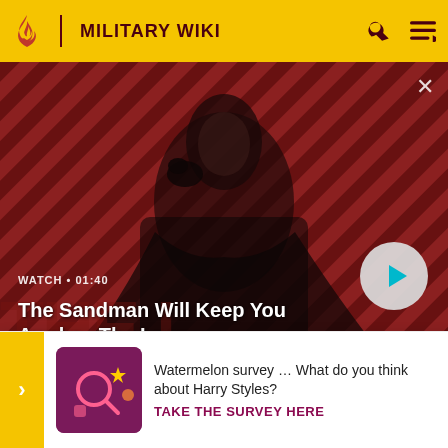MILITARY WIKI
[Figure (screenshot): Video thumbnail for 'The Sandman Will Keep You Awake - The Loop'. Shows a dark-cloaked figure with a raven on shoulder against a red and black diagonal striped background. Overlaid with WATCH • 01:40 label, video title, and a play button.]
WATCH • 01:40
The Sandman Will Keep You Awake - The Loop
opposite side of the camp. They struck twenty-three unm[...]M11/70 [...]be[...] can[...] and[...]
[Figure (illustration): Survey banner showing a dark pink/purple graphic with magnifying glass and star icons, representing a Watermelon survey about Harry Styles. Includes call to action 'TAKE THE SURVEY HERE'.]
Watermelon survey … What do you think about Harry Styles?
TAKE THE SURVEY HERE